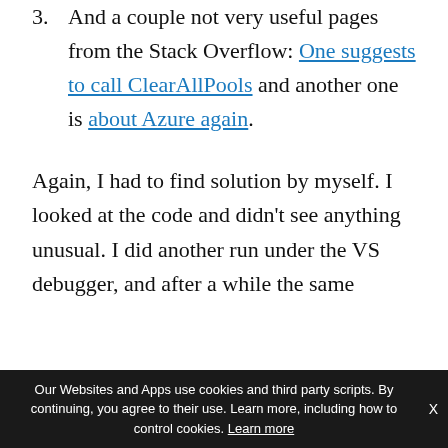3. And a couple not very useful pages from the Stack Overflow: One suggests to call ClearAllPools and another one is about Azure again.
Again, I had to find solution by myself. I looked at the code and didn't see anything unusual. I did another run under the VS debugger, and after a while the same
Our Websites and Apps use cookies and third party scripts. By continuing, you agree to their use. Learn more, including how to control cookies. Learn more  X